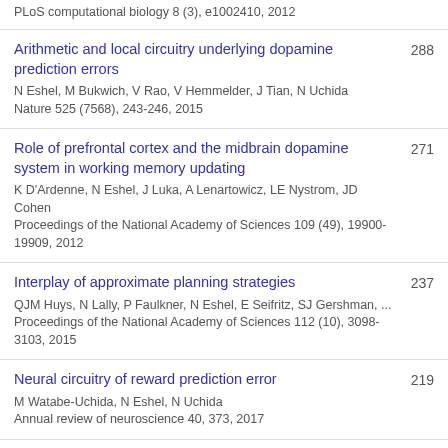PLoS computational biology 8 (3), e1002410, 2012
Arithmetic and local circuitry underlying dopamine prediction errors
N Eshel, M Bukwich, V Rao, V Hemmelder, J Tian, N Uchida
Nature 525 (7568), 243-246, 2015
288
Role of prefrontal cortex and the midbrain dopamine system in working memory updating
K D'Ardenne, N Eshel, J Luka, A Lenartowicz, LE Nystrom, JD Cohen
Proceedings of the National Academy of Sciences 109 (49), 19900-19909, 2012
271
Interplay of approximate planning strategies
QJM Huys, N Lally, P Faulkner, N Eshel, E Seifritz, SJ Gershman, ...
Proceedings of the National Academy of Sciences 112 (10), 3098-3103, 2015
237
Neural circuitry of reward prediction error
M Watabe-Uchida, N Eshel, N Uchida
Annual review of neuroscience 40, 373, 2017
219